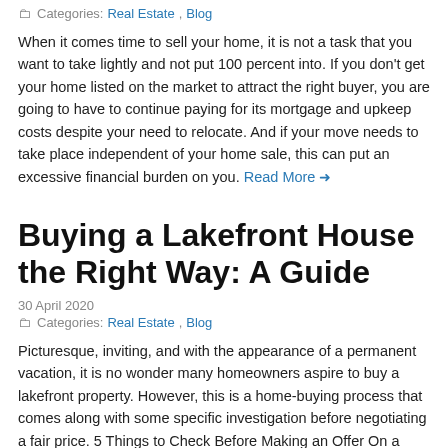Categories: Real Estate, Blog
When it comes time to sell your home, it is not a task that you want to take lightly and not put 100 percent into. If you don't get your home listed on the market to attract the right buyer, you are going to have to continue paying for its mortgage and upkeep costs despite your need to relocate. And if your move needs to take place independent of your home sale, this can put an excessive financial burden on you. Read More →
Buying a Lakefront House the Right Way: A Guide
30 April 2020
Categories: Real Estate, Blog
Picturesque, inviting, and with the appearance of a permanent vacation, it is no wonder many homeowners aspire to buy a lakefront property. However, this is a home-buying process that comes along with some specific investigation before negotiating a fair price.  5 Things to Check Before Making an Offer On a Lakefront Property Make sure you know what you are really getting